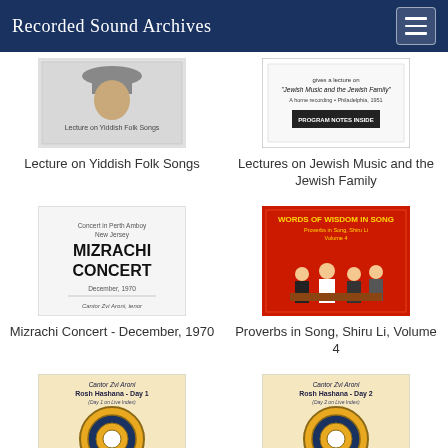Recorded Sound Archives
[Figure (illustration): Album cover for Lecture on Yiddish Folk Songs]
Lecture on Yiddish Folk Songs
[Figure (illustration): Album cover for Lectures on Jewish Music and the Jewish Family]
Lectures on Jewish Music and the Jewish Family
[Figure (illustration): Album cover for Mizrachi Concert - December, 1970]
Mizrachi Concert - December, 1970
[Figure (illustration): Album cover for Proverbs in Song, Shiru Li, Volume 4 - red cover with people]
Proverbs in Song, Shiru Li, Volume 4
[Figure (illustration): Album cover for Rosh Hashana - Day 1 by Cantor Zvi Aroni, recorded live 1970 at Cong. Shaarei Tsedek in Manhattan]
Rosh Hashana - Day 1
[Figure (illustration): Album cover for Rosh Hashana - Day 2 by Cantor Zvi Aroni, recorded live 1970 at Cong. Shaarei Tsedek in Manhattan]
Rosh Hashana - Day 2
[Figure (illustration): Partial album cover at bottom left]
[Figure (illustration): Partial album cover at bottom right with text Zvi Aroni (or Aromonita), hazzan]